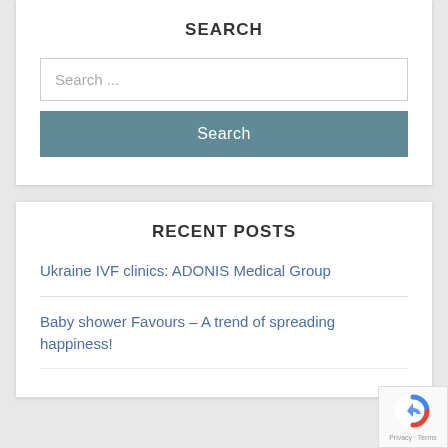SEARCH
Search ...
Search
RECENT POSTS
Ukraine IVF clinics: ADONIS Medical Group
Baby shower Favours – A trend of spreading happiness!